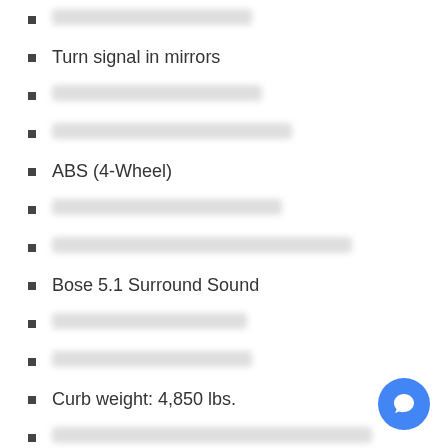[redacted]
Turn signal in mirrors
[redacted]
[redacted]
ABS (4-Wheel)
[redacted]
[redacted]
Bose 5.1 Surround Sound
[redacted]
[redacted]
Curb weight: 4,850 lbs.
[redacted]
[redacted]
External temperature display
[redacted]
[redacted]